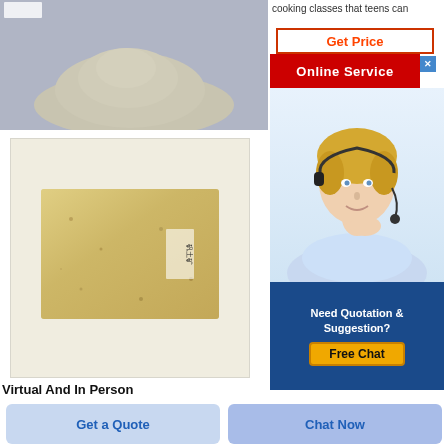[Figure (photo): Pile of gray/beige powder material on a blue-gray background]
[Figure (photo): A rectangular refractory or fire brick with Chinese characters label, light tan/yellow color with speckles]
cooking classes that teens can
[Figure (infographic): Get Price button (orange text on white with red border), Online Service banner (white text on red), close X button, customer service agent photo (blonde woman with headset), Need Quotation & Suggestion? text, Free Chat button]
Virtual And In Person
Get a Quote
Chat Now